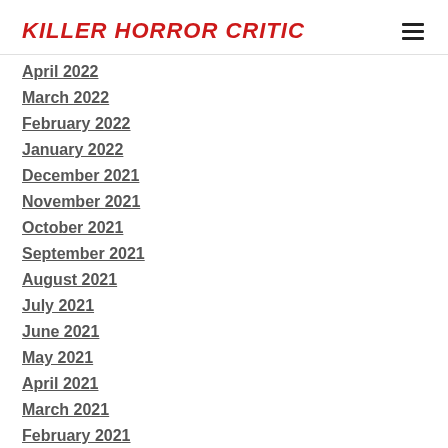KILLER HORROR CRITIC
April 2022
March 2022
February 2022
January 2022
December 2021
November 2021
October 2021
September 2021
August 2021
July 2021
June 2021
May 2021
April 2021
March 2021
February 2021
January 2021